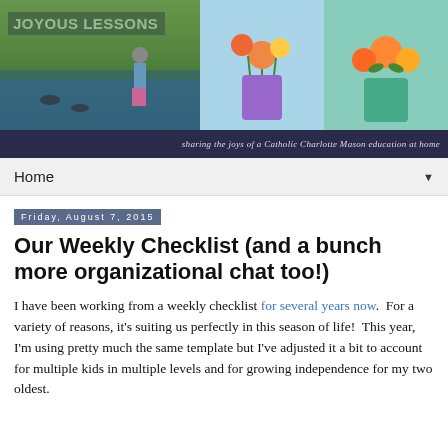[Figure (photo): Blog header banner showing 'JOYOUS LESSONS' text over a nature/pond scene on the left, and two children's flower paintings on the right]
sharing the joys of a Catholic Charlotte Mason education at home
Home ▼
Friday, August 7, 2015
Our Weekly Checklist (and a bunch more organizational chat too!)
I have been working from a weekly checklist for several years now.  For a variety of reasons, it's suiting us perfectly in this season of life!  This year, I'm using pretty much the same template but I've adjusted it a bit to account for multiple kids in multiple levels and for growing independence for my two oldest.